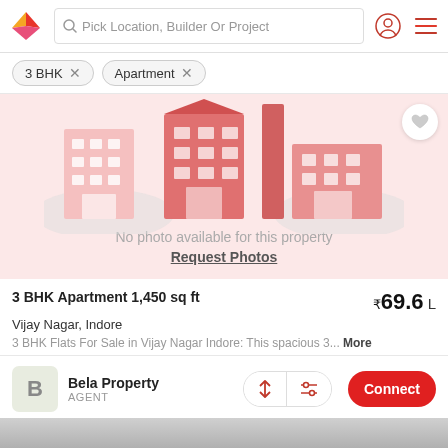Pick Location, Builder Or Project
3 BHK ×
Apartment ×
[Figure (illustration): Real estate app listing card showing a placeholder building illustration in pink/red tones with text 'No photo available for this property' and 'Request Photos' link.]
No photo available for this property
Request Photos
3 BHK Apartment 1,450 sq ft
₹69.6 L
Vijay Nagar, Indore
3 BHK Flats For Sale in Vijay Nagar Indore: This spacious 3... More
Bela Property
AGENT
Connect